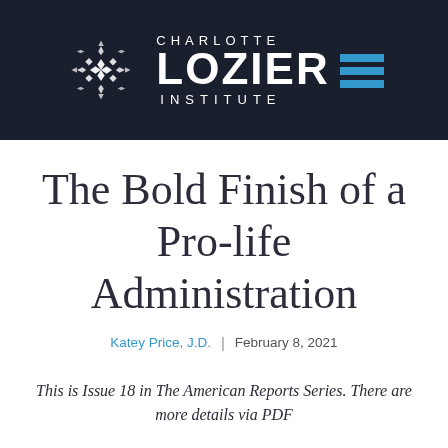[Figure (logo): Charlotte Lozier Institute logo: white snowflake/geometric pattern on dark background beside text 'CHARLOTTE LOZIER INSTITUTE' with blue horizontal bars accent]
The Bold Finish of a Pro-life Administration
Katey Price, J.D.  |  February 8, 2021
This is Issue 18 in The American Reports Series. There are more details via PDF...